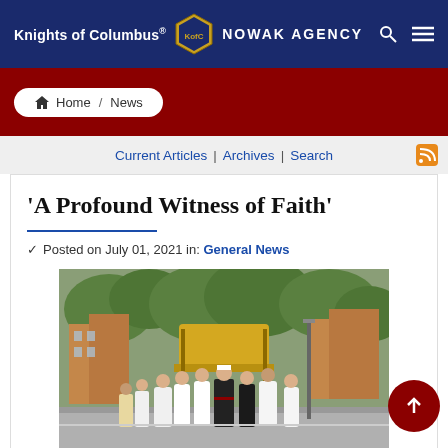Knights of Columbus NOWAK AGENCY
Home / News
Current Articles | Archives | Search
'A Profound Witness of Faith'
Posted on July 01, 2021 in: General News
[Figure (photo): Religious procession on a city street. Clergy in white vestments and Knights of Columbus members in dark uniforms walking in a procession carrying a decorated canopy/baldachin, with trees and brick buildings in the background.]